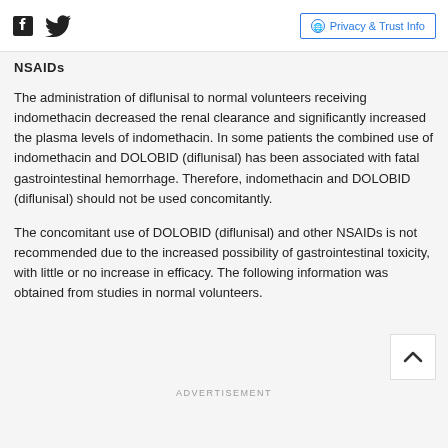NSAIDs | Privacy & Trust Info
NSAIDs
The administration of diflunisal to normal volunteers receiving indomethacin decreased the renal clearance and significantly increased the plasma levels of indomethacin. In some patients the combined use of indomethacin and DOLOBID (diflunisal) has been associated with fatal gastrointestinal hemorrhage. Therefore, indomethacin and DOLOBID (diflunisal) should not be used concomitantly.
The concomitant use of DOLOBID (diflunisal) and other NSAIDs is not recommended due to the increased possibility of gastrointestinal toxicity, with little or no increase in efficacy. The following information was obtained from studies in normal volunteers.
ADVERTISEMENT